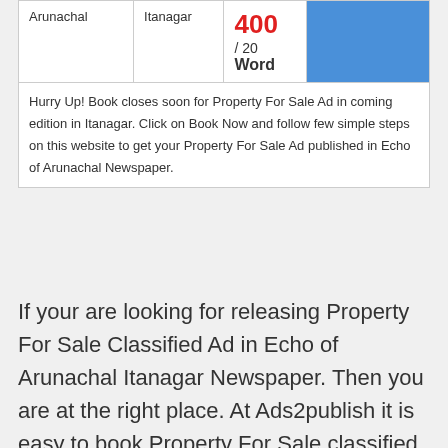|  |  |  |  |
| --- | --- | --- | --- |
| Arunachal | Itanagar | 400
/ 20
Word | BOOK |
| Hurry Up! Book closes soon for Property For Sale Ad in coming edition in Itanagar. Click on Book Now and follow few simple steps on this website to get your Property For Sale Ad published in Echo of Arunachal Newspaper. |  |  |  |
If your are looking for releasing Property For Sale Classified Ad in Echo of Arunachal Itanagar Newspaper. Then you are at the right place. At Ads2publish it is easy to book Property For Sale classified Ad at the lowest rates in Echo of Arunachal Itanagar Newspaper. We are are fully advertising